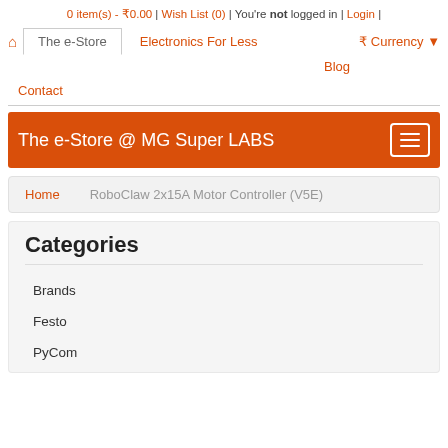0 item(s) - ₹0.00 | Wish List (0) | You're not logged in | Login |
The e-Store | Electronics For Less | ₹ Currency ▾ | Blog
Contact
The e-Store @ MG Super LABS
Home   RoboClaw 2x15A Motor Controller (V5E)
Categories
Brands
Festo
PyCom